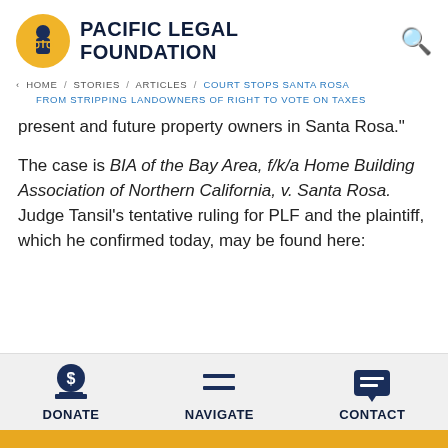[Figure (logo): Pacific Legal Foundation logo: yellow circle with figure holding scales of justice, beside bold text PACIFIC LEGAL FOUNDATION]
PACIFIC LEGAL FOUNDATION
< HOME / STORIES / ARTICLES / COURT STOPS SANTA ROSA FROM STRIPPING LANDOWNERS OF RIGHT TO VOTE ON TAXES
present and future property owners in Santa Rosa."
The case is BIA of the Bay Area, f/k/a Home Building Association of Northern California, v. Santa Rosa. Judge Tansil's tentative ruling for PLF and the plaintiff, which he confirmed today, may be found here:
DONATE  NAVIGATE  CONTACT